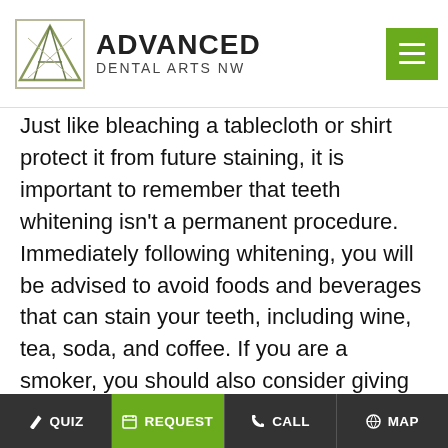Advanced Dental Arts NW
Just like bleaching a tablecloth or shirt does not protect it from future staining, it is important to remember that teeth whitening isn't a permanent procedure. Immediately following whitening, you will be advised to avoid foods and beverages that can stain your teeth, including wine, tea, soda, and coffee. If you are a smoker, you should also consider giving up the habit. Additionally, you will likely need an annual touch-up in order to maintain your beautiful, white smile.
Give us a call to schedule your whitening appointment.
QUIZ  REQUEST  CALL  MAP